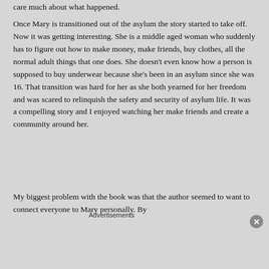care much about what happened.
Once Mary is transitioned out of the asylum the story started to take off. Now it was getting interesting. She is a middle aged woman who suddenly has to figure out how to make money, make friends, buy clothes, all the normal adult things that one does. She doesn't even know how a person is supposed to buy underwear because she's been in an asylum since she was 16. That transition was hard for her as she both yearned for her freedom and was scared to relinquish the safety and security of asylum life. It was a compelling story and I enjoyed watching her make friends and create a community around her.
My biggest problem with the book was that the author seemed to want to connect everyone to Mary personally. By
Advertisements
[Figure (other): DuckDuckGo advertisement banner: orange left side with text 'Search, browse, and email with more privacy. All in One Free App' and dark right side with DuckDuckGo logo]